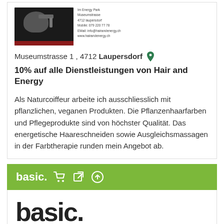[Figure (logo): Hair and Energy salon logo with hair dryer image on dark background and dark red bar at bottom, with contact info text]
Museumstrasse 1 , 4712 Laupersdorf
10% auf alle Dienstleistungen von Hair and Energy
Als Naturcoiffeur arbeite ich ausschliesslich mit pflanzlichen, veganen Produkten. Die Pflanzenhaarfarben und Pflegeprodukte sind von höchster Qualität. Das energetische Haareschneiden sowie Ausgleichsmassagen in der Farbtherapie runden mein Angebot ab.
basic.
basic.